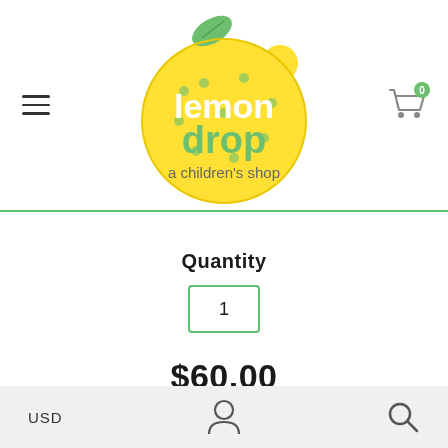[Figure (logo): Lemon Drop - a children's shop logo: yellow lemon shape with green leaf, white text 'lemon' and green text 'drop', and text 'a children's shop' in gray]
[Figure (other): Hamburger menu icon (three horizontal lines) on the left side of the header]
[Figure (other): Shopping cart icon with green badge showing '0' on the right side of the header]
Quantity
1
$60.00
Add to Cart
USD  [user icon]  [search icon]